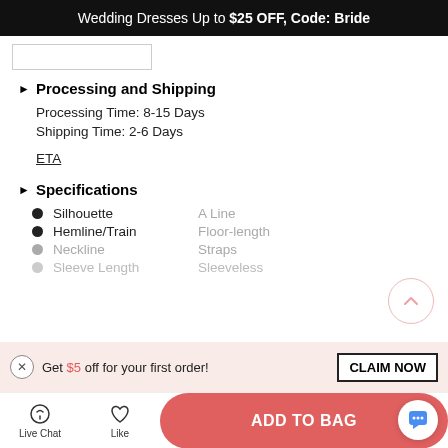Wedding Dresses Up to $25 OFF, Code: Bride
▶ Processing and Shipping
Processing Time: 8-15 Days
Shipping Time: 2-6 Days
ETA
▶ Specifications
Silhouette — A Line
Hemline/Train — Floor-length
Neckline — Straps
Sleeve Length — Sleeveless
Get $5 off for your first order!
ADD TO BAG